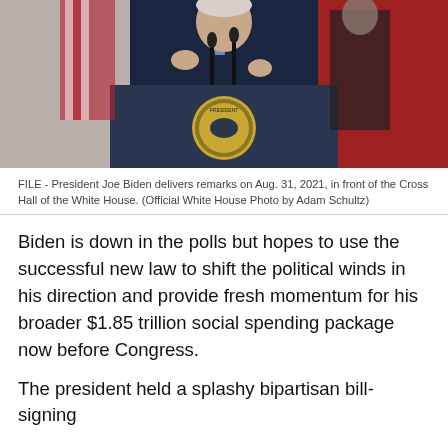[Figure (photo): President Joe Biden standing at a presidential podium with the presidential seal, delivering remarks in front of the Cross Hall of the White House, wearing a dark suit and light blue tie, gesturing with his hands, with microphones in front of him and a red carpet visible in the background.]
FILE - President Joe Biden delivers remarks on Aug. 31, 2021, in front of the Cross Hall of the White House. (Official White House Photo by Adam Schultz)
Biden is down in the polls but hopes to use the successful new law to shift the political winds in his direction and provide fresh momentum for his broader $1.85 trillion social spending package now before Congress.
The president held a splashy bipartisan bill-signing